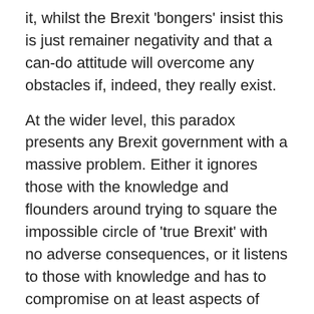it, whilst the Brexit 'bongers' insist this is just remainer negativity and that a can-do attitude will overcome any obstacles if, indeed, they really exist.
At the wider level, this paradox presents any Brexit government with a massive problem. Either it ignores those with the knowledge and flounders around trying to square the impossible circle of 'true Brexit' with no adverse consequences, or it listens to those with knowledge and has to compromise on at least aspects of 'true Brexit'.
Whilst that has been true throughout the Brexit process, it is now an acute issue with the trade negotiations starting and the timescale tightening. A key part of any trade negotiation process – and one reason they take a long time – is that governments need to engage and consult with the business and other groups which will be affected